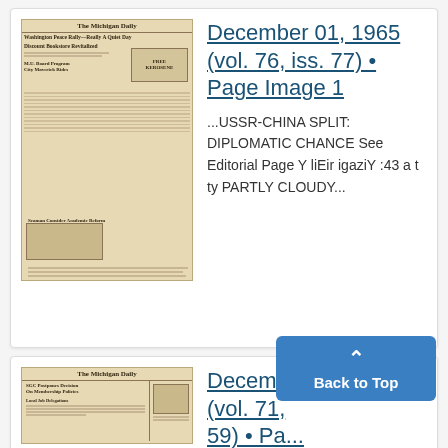[Figure (photo): Thumbnail of The Michigan Daily newspaper front page, dated December 01, 1965, with headlines about Washington Peace Rally and other stories. Vintage newspaper with sepia tone.]
December 01, 1965 (vol. 76, iss. 77) • Page Image 1
...USSR-CHINA SPLIT: DIPLOMATIC CHANCE See Editorial Page Y liEir igaziY :43 a t ty PARTLY CLOUDY...
[Figure (photo): Thumbnail of The Michigan Daily newspaper front page, dated December 01, 1960, with headlines about SGC postponing decision on membership policies and other stories.]
December 01, 1960 (vol. 71, iss. 59) • Pa...